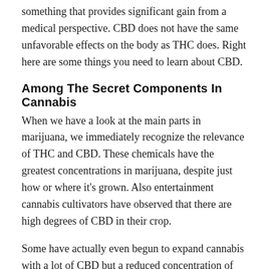something that provides significant gain from a medical perspective. CBD does not have the same unfavorable effects on the body as THC does. Right here are some things you need to learn about CBD.
Among The Secret Components In Cannabis
When we have a look at the main parts in marijuana, we immediately recognize the relevance of THC and CBD. These chemicals have the greatest concentrations in marijuana, despite just how or where it's grown. Also entertainment cannabis cultivators have observed that there are high degrees of CBD in their crop.
Some have actually even begun to expand cannabis with a lot of CBD but a reduced concentration of THC. In fact, these pressures are coming to be progressively a lot more